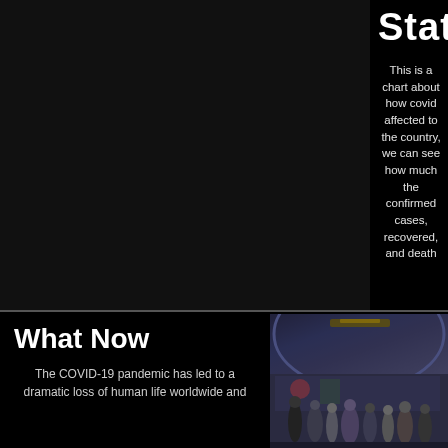Status
This is a chart about how covid affected to the country, we can see how much the confirmed cases, recovered, and death
What Now
The COVID-19 pandemic has led to a dramatic loss of human life worldwide and
[Figure (photo): People in a subway/metro station wearing masks, walking along a platform with colorful wall art visible in the background]